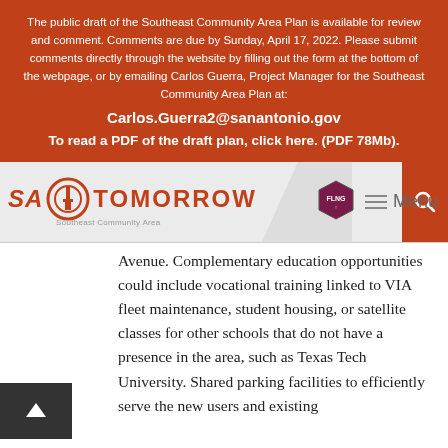The public draft of the Southeast Community Area Plan is available for review and comment. Comments are due by Sunday, April 17, 2022. Please submit comments directly through the website by filling out the form at the bottom of the webpage, or by emailing Carlos Guerra, Project Manager for the Southeast Community Area Plan at:
Carlos.Guerra2@sanantonio.gov
To read a PDF of the draft plan, click here. (PDF 78Mb).
[Figure (logo): SA Tomorrow Southeast Community Area logo with navigation bar including FLNG badge and search icon]
Avenue. Complementary education opportunities could include vocational training linked to VIA fleet maintenance, student housing, or satellite classes for other schools that do not have a presence in the area, such as Texas Tech University. Shared parking facilities to efficiently serve the new users and existing